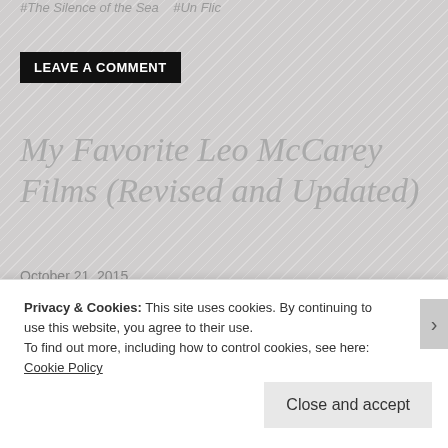#The Silence of the Sea  #Un Flic
LEAVE A COMMENT
My Favorite Leo McCarey Films (Revised and Updated)
October 21, 2015
* * * * (Out of * * * *)
Privacy & Cookies: This site uses cookies. By continuing to use this website, you agree to their use.
To find out more, including how to control cookies, see here: Cookie Policy
Close and accept